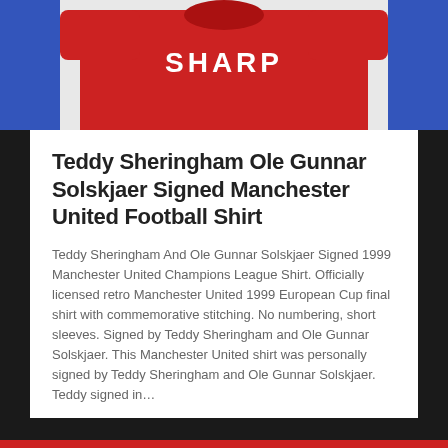[Figure (photo): Top portion of a red Manchester United football shirt with SHARP sponsor text visible, against a blue background]
Teddy Sheringham Ole Gunnar Solskjaer Signed Manchester United Football Shirt
Teddy Sheringham And Ole Gunnar Solskjaer Signed 1999 Manchester United Champions League Shirt. Officially licensed retro Manchester United 1999 European Cup final shirt with commemorative stitching. No numbering, short sleeves. Signed by Teddy Sheringham and Ole Gunnar Solskjaer. This Manchester United shirt was personally signed by Teddy Sheringham and Ole Gunnar Solskjaer. Teddy signed in…
Read More ›
#teddy
Comments are closed
admin